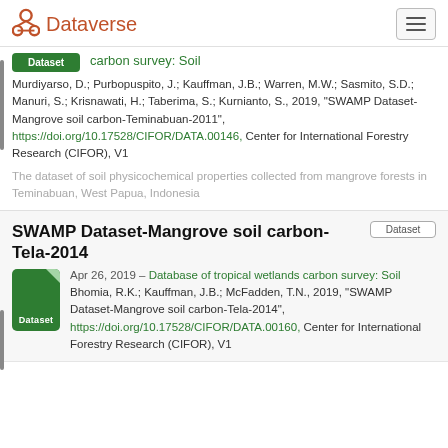Dataverse
carbon survey: Soil
Murdiyarso, D.; Purbopuspito, J.; Kauffman, J.B.; Warren, M.W.; Sasmito, S.D.; Manuri, S.; Krisnawati, H.; Taberima, S.; Kurnianto, S., 2019, "SWAMP Dataset-Mangrove soil carbon-Teminabuan-2011", https://doi.org/10.17528/CIFOR/DATA.00146, Center for International Forestry Research (CIFOR), V1
The dataset of soil physicochemical properties collected from mangrove forests in Teminabuan, West Papua, Indonesia
SWAMP Dataset-Mangrove soil carbon-Tela-2014
Apr 26, 2019 – Database of tropical wetlands carbon survey: Soil
Bhomia, R.K.; Kauffman, J.B.; McFadden, T.N., 2019, "SWAMP Dataset-Mangrove soil carbon-Tela-2014", https://doi.org/10.17528/CIFOR/DATA.00160, Center for International Forestry Research (CIFOR), V1